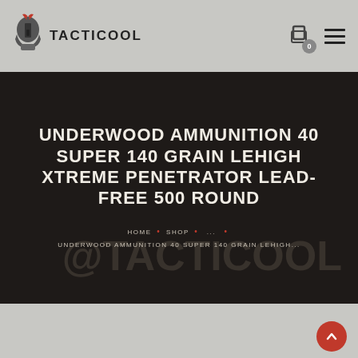TACTICOOL
UNDERWOOD AMMUNITION 40 SUPER 140 GRAIN LEHIGH XTREME PENETRATOR LEAD-FREE 500 ROUND
HOME • SHOP • ... • UNDERWOOD AMMUNITION 40 SUPER 140 GRAIN LEHIGH...